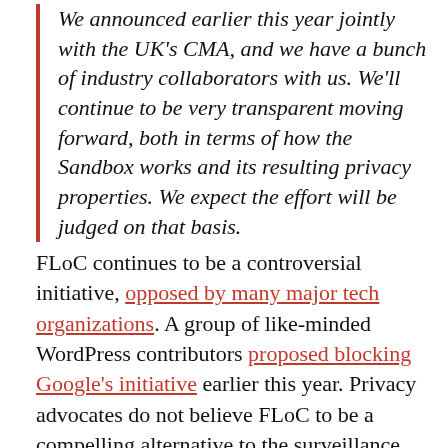We announced earlier this year jointly with the UK's CMA, and we have a bunch of industry collaborators with us. We'll continue to be very transparent moving forward, both in terms of how the Sandbox works and its resulting privacy properties. We expect the effort will be judged on that basis.
FLoC continues to be a controversial initiative, opposed by many major tech organizations. A group of like-minded WordPress contributors proposed blocking Google's initiative earlier this year. Privacy advocates do not believe FLoC to be a compelling alternative to the surveillance business model currently used by the advertising industry. Instead, they see it as an invitation to cede more control of ad